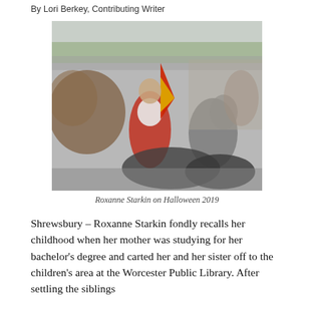By Lori Berkey, Contributing Writer
[Figure (photo): Roxanne Starkin dressed in a costume on Halloween 2019, sitting outdoors near a decorative iron fence and garden area.]
Roxanne Starkin on Halloween 2019
Shrewsbury – Roxanne Starkin fondly recalls her childhood when her mother was studying for her bachelor's degree and carted her and her sister off to the children's area at the Worcester Public Library. After settling the siblings